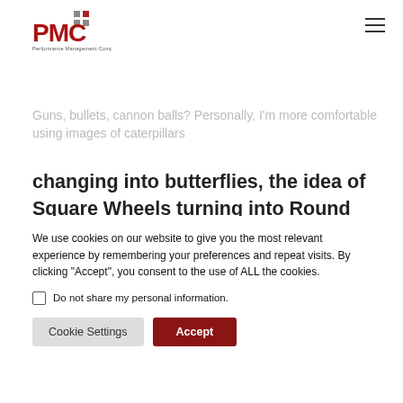PMC Performance Management Company
maybe even “spots” but these often get old really fast.
Guns, bullets, cannon balls? Personally, I’m more comfortable using images of caterpillars changing into butterflies, the idea of Square Wheels turning into Round Wheels, Geese flying in a “V” and on and on.
[Figure (illustration): Green horizontal bar with a small person/figure icon in the center]
We use cookies on our website to give you the most relevant experience by remembering your preferences and repeat visits. By clicking “Accept”, you consent to the use of ALL the cookies.
Do not share my personal information.
Cookie Settings  Accept